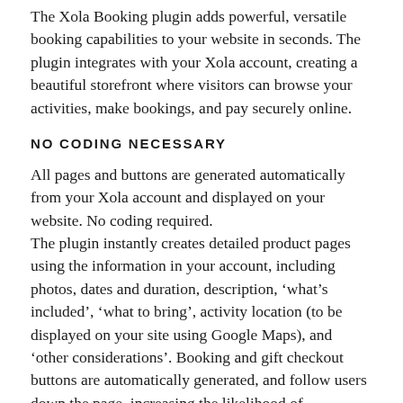The Xola Booking plugin adds powerful, versatile booking capabilities to your website in seconds. The plugin integrates with your Xola account, creating a beautiful storefront where visitors can browse your activities, make bookings, and pay securely online.
NO CODING NECESSARY
All pages and buttons are generated automatically from your Xola account and displayed on your website. No coding required. The plugin instantly creates detailed product pages using the information in your account, including photos, dates and duration, description, ‘what’s included’, ‘what to bring’, activity location (to be displayed on your site using Google Maps), and ‘other considerations’. Booking and gift checkout buttons are automatically generated, and follow users down the page, increasing the likelihood of